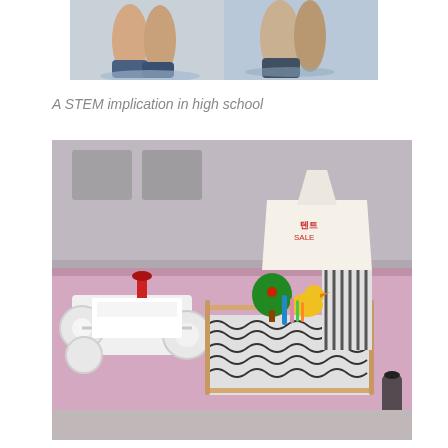[Figure (photo): Cropped photo showing legs/feet of people, likely a sports or activity scene, partially visible at top of page]
A STEM implication in high school
[Figure (photo): Photo of a student-made STEM project model on a pink table: a white vehicle/car model on the left with circular wheels and a red handle, connected to or beside a small diorama scene on the right featuring a tent-like structure made from a bag, a green tree, a yellow duck figure, colorful straws, and a black-and-white patterned base, displayed at what appears to be a school exhibition]